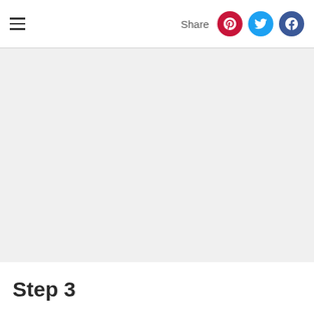≡  Share
[Figure (photo): Large image placeholder area with light gray background]
Step 3